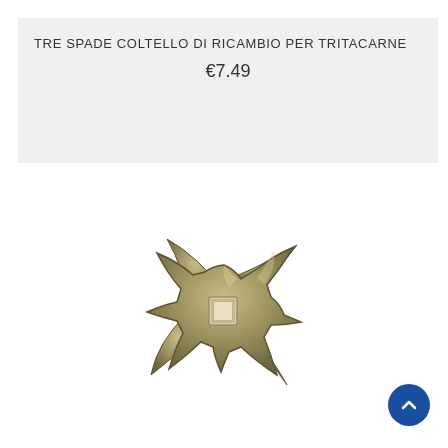TRE SPADE COLTELLO DI RICAMBIO PER TRITACARNE
€7.49
[Figure (photo): A metal meat grinder replacement blade (coltello per tritacarne) by Tre Spade, four-bladed cross-shaped knife with a square central hole, in aged bronze/steel color, photographed on a white background.]